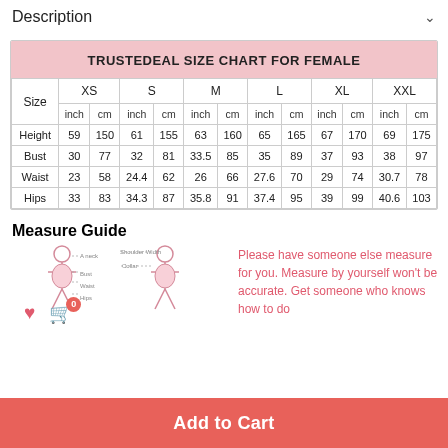Description
| Size | XS inch | XS cm | S inch | S cm | M inch | M cm | L inch | L cm | XL inch | XL cm | XXL inch | XXL cm |
| --- | --- | --- | --- | --- | --- | --- | --- | --- | --- | --- | --- | --- |
| Height | 59 | 150 | 61 | 155 | 63 | 160 | 65 | 165 | 67 | 170 | 69 | 175 |
| Bust | 30 | 77 | 32 | 81 | 33.5 | 85 | 35 | 89 | 37 | 93 | 38 | 97 |
| Waist | 23 | 58 | 24.4 | 62 | 26 | 66 | 27.6 | 70 | 29 | 74 | 30.7 | 78 |
| Hips | 33 | 83 | 34.3 | 87 | 35.8 | 91 | 37.4 | 95 | 39 | 99 | 40.6 | 103 |
Measure Guide
[Figure (illustration): Body measurement diagram showing female figure with measurement points labeled]
Please have someone else measure for you. Measure by yourself won't be accurate. Get someone who knows how to do